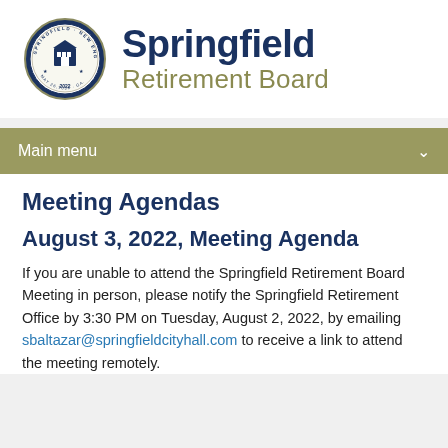[Figure (logo): Springfield city seal — circular emblem with building and text, blue and white]
Springfield Retirement Board
Main menu
Meeting Agendas
August 3, 2022, Meeting Agenda
If you are unable to attend the Springfield Retirement Board Meeting in person, please notify the Springfield Retirement Office by 3:30 PM on Tuesday, August 2, 2022, by emailing sbaltazar@springfieldcityhall.com to receive a link to attend the meeting remotely.